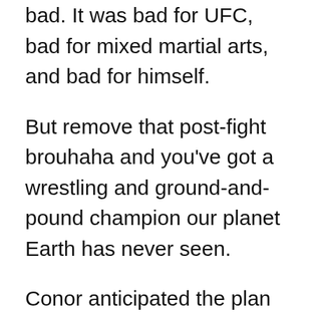bad. It was bad for UFC, bad for mixed martial arts, and bad for himself.
But remove that post-fight brouhaha and you've got a wrestling and ground-and-pound champion our planet Earth has never seen.
Conor anticipated the plan of the 5-foot-10 Khabib. It was to fight horizontally, not vertically. Khabib's goal was to trip him so Conor falls. But despite trying to avoid that scenario, Conor fell prey. The grappling prowess of Nurmagomedov is incredible.